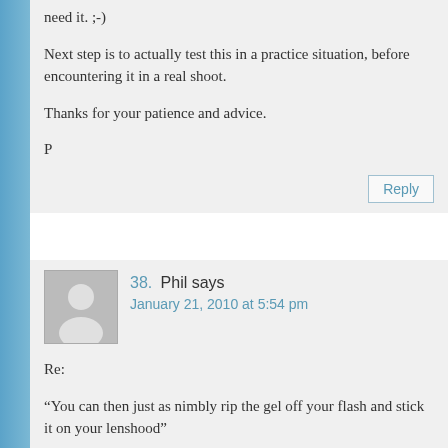need it. ;-)
Next step is to actually test this in a practice situation, before encountering it in a real shoot.
Thanks for your patience and advice.
P
38. Phil says
January 21, 2010 at 5:54 pm
Re:
“You can then just as nimbly rip the gel off your flash and stick it on your lenshood”
You might need to work on a different strategy when your Q-flashes are mounted 13ft from the floor… ;-)